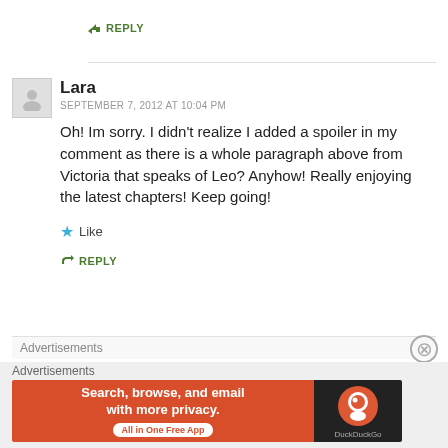↳ REPLY
Lara
SEPTEMBER 7, 2012 AT 10:04 PM
Oh! Im sorry. I didn't realize I added a spoiler in my comment as there is a whole paragraph above from Victoria that speaks of Leo? Anyhow! Really enjoying the latest chapters! Keep going!
★ Like
↳ REPLY
Advertisements
Advertisements
[Figure (screenshot): DuckDuckGo advertisement banner: orange left side with text 'Search, browse, and email with more privacy. All in One Free App' and dark right side with DuckDuckGo logo and name]